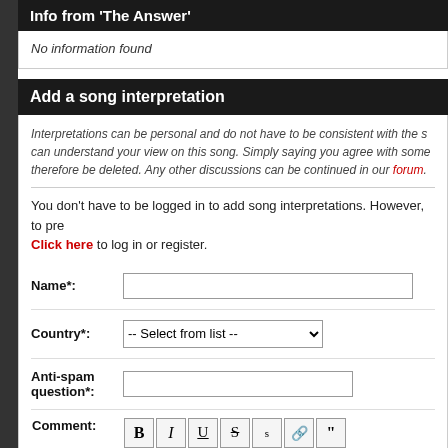Info from 'The Answer'
No information found
Add a song interpretation
Interpretations can be personal and do not have to be consistent with the s... can understand your view on this song. Simply saying you agree with some... therefore be deleted. Any other discussions can be continued in our forum.
You don't have to be logged in to add song interpretations. However, to pre... Click here to log in or register.
Name*:
Country*:
Anti-spam question*:
Comment: